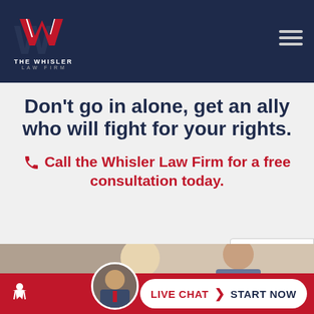[Figure (logo): The Whisler Law Firm logo with stylized W in red/white on dark navy background, with hamburger menu icon on the right]
Don't go in alone, get an ally who will fight for your rights.
Call the Whisler Law Firm for a free consultation today.
[Figure (photo): Two women in conversation in an office setting, one blonde and one brunette]
[Figure (photo): reCAPTCHA widget overlay]
LIVE CHAT  START NOW